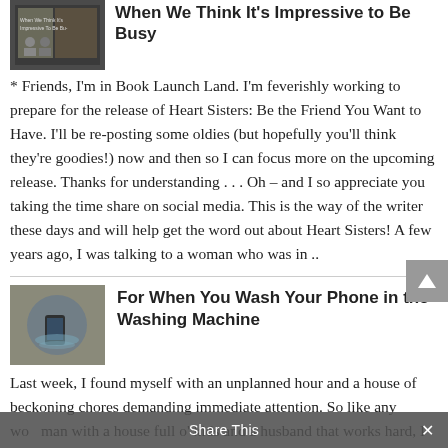When We Think It's Impressive to Be Busy
* Friends, I'm in Book Launch Land. I'm feverishly working to prepare for the release of Heart Sisters: Be the Friend You Want to Have. I'll be re-posting some oldies (but hopefully you'll think they're goodies!) now and then so I can focus more on the upcoming release. Thanks for understanding . . . Oh – and I so appreciate you taking the time share on social media. This is the way of the writer these days and will help get the word out about Heart Sisters! A few years ago, I was talking to a woman who was in ..
For When You Wash Your Phone in the Washing Machine
Last week, I found myself with an unplanned hour and a house of beckoning chores demanding immediate attention. So like any woman with a house full o' kids and a husband that works hard, I jumped at the...
Share This